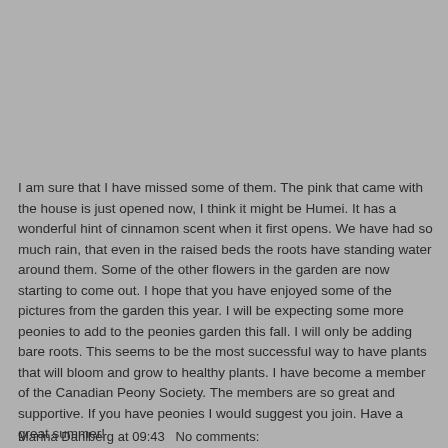I am sure that I have missed some of them.  The pink that came with the house is just opened now, I think it might be Humei.  It has a wonderful hint of cinnamon scent when it first opens.  We have had so much rain, that even in the raised beds the roots have standing water around them.  Some of the other flowers in the garden are now starting to come out.  I hope that you have enjoyed some of the pictures from the garden this year.  I will be expecting some more peonies to add to the peonies garden this fall.  I will only be adding bare roots.  This seems to be the most successful way to have plants that will bloom and grow to healthy plants.  I have become a member of the Canadian Peony Society.  The members are so great and supportive.  If you have peonies I would suggest you join. Have a great summer!
Marina Dahlberg at 09:43   No comments: